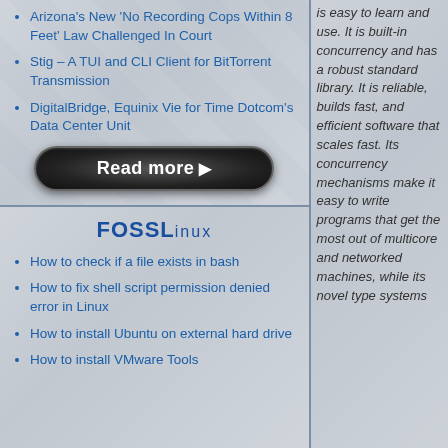Arizona's New 'No Recording Cops Within 8 Feet' Law Challenged In Court
Stig – A TUI and CLI Client for BitTorrent Transmission
DigitalBridge, Equinix Vie for Time Dotcom's Data Center Unit
[Figure (other): Read more button - black rounded rectangle button with white bold text 'Read more ►']
FOSSLinux
How to check if a file exists in bash
How to fix shell script permission denied error in Linux
How to install Ubuntu on external hard drive
How to install VMware Tools
is easy to learn and use. It is built-in concurrency and has a robust standard library. It is reliable, builds fast, and efficient software that scales fast. Its concurrency mechanisms make it easy to write programs that get the most out of multicore and networked machines, while its novel type systems